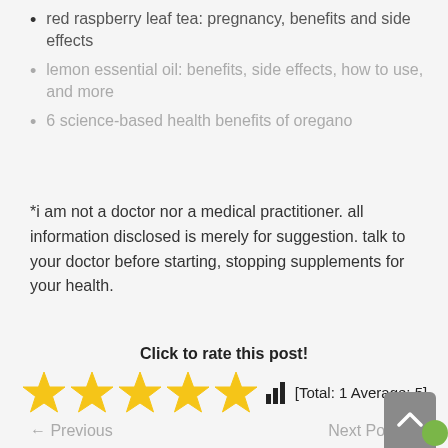red raspberry leaf tea: pregnancy, benefits and side effects
lemon essential oil: benefits, side effects, how to use, and more
6 science-based health benefits of oregano
*i am not a doctor nor a medical practitioner. all information disclosed is merely for suggestion. talk to your doctor before starting, stopping supplements for your health.
Click to rate this post!
[Figure (other): Five yellow star rating icons with bar chart icon and text [Total: 1 Average: 5]]
← Previous    Next Post →